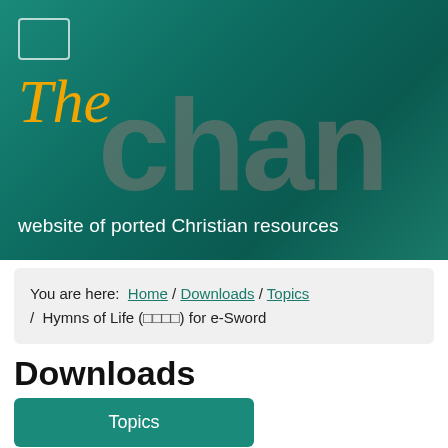[Figure (logo): The Chan website logo: 'The' in italic gold script overlaid with large gray 'chan' text on teal gradient background, with small white rectangle outline in top left corner]
website of ported Christian resources
You are here: Home / Downloads / Topics / Hymns of Life (□□□□) for e-Sword
Downloads
Topics